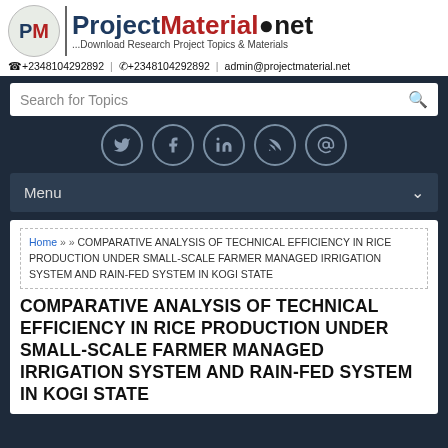[Figure (logo): ProjectMaterial.net logo with PM circle logo, site name, tagline and contact info]
Search for Topics
[Figure (infographic): Social media icons row: Twitter, Facebook, LinkedIn, RSS, Email]
Menu
Home » » COMPARATIVE ANALYSIS OF TECHNICAL EFFICIENCY IN RICE PRODUCTION UNDER SMALL-SCALE FARMER MANAGED IRRIGATION SYSTEM AND RAIN-FED SYSTEM IN KOGI STATE
COMPARATIVE ANALYSIS OF TECHNICAL EFFICIENCY IN RICE PRODUCTION UNDER SMALL-SCALE FARMER MANAGED IRRIGATION SYSTEM AND RAIN-FED SYSTEM IN KOGI STATE